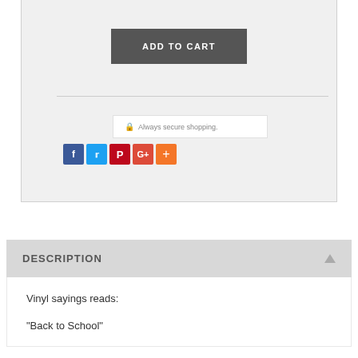ADD TO CART
Always secure shopping.
[Figure (infographic): Social media sharing icons: Facebook (blue), Twitter (light blue), Pinterest (red), Google+ (red-orange), More/Plus (orange)]
DESCRIPTION
Vinyl sayings reads:
"Back to School"